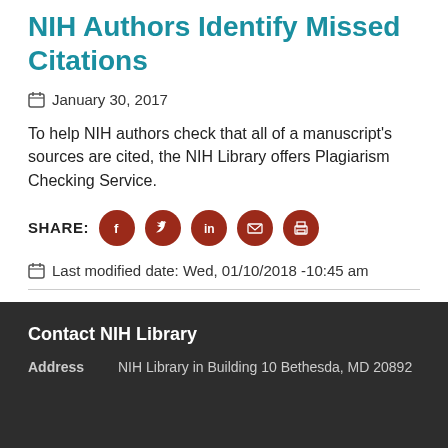NIH Authors Identify Missed Citations
January 30, 2017
To help NIH authors check that all of a manuscript's sources are cited, the NIH Library offers Plagiarism Checking Service.
SHARE:
Last modified date: Wed, 01/10/2018 -10:45 am
Contact NIH Library
Address: NIH Library in Building 10 Bethesda, MD 20892